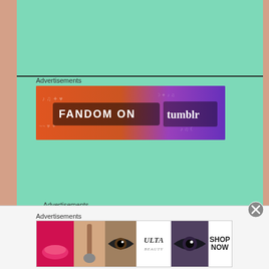Advertisements
[Figure (illustration): Fandom on Tumblr banner advertisement with gradient background from orange to purple, featuring doodle art and the text FANDOM ON tumblr]
Advertisements
[Figure (screenshot): Sensei advertisement on dark background showing logo and text 'Launch your online' course]
Advertisements
[Figure (illustration): Ulta Beauty advertisement banner showing makeup photos, Ulta logo, and SHOP NOW call to action]